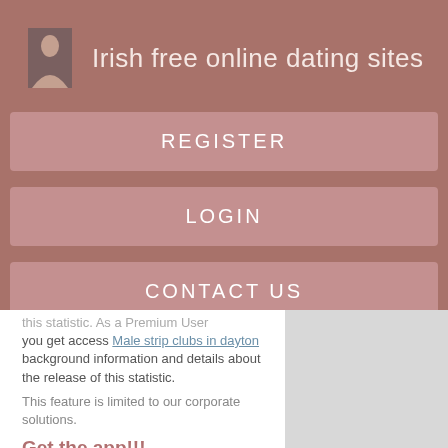Irish free online dating sites
REGISTER
LOGIN
CONTACT US
this statistic. As a Premium User you get access Male strip clubs in dayton background information and details about the release of this statistic.
This feature is limited to our corporate solutions.
Get the app!!!